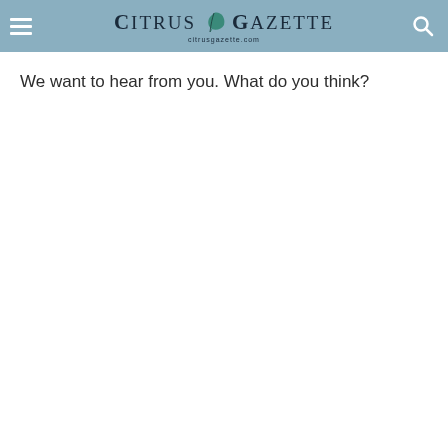Citrus Gazette — citrusgazette.com
We want to hear from you. What do you think?